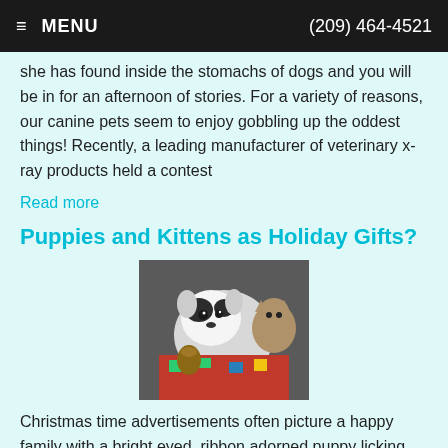≡ MENU   (209) 464-4521
she has found inside the stomachs of dogs and you will be in for an afternoon of stories. For a variety of reasons, our canine pets seem to enjoy gobbling up the oddest things! Recently, a leading manufacturer of veterinary x-ray products held a contest
Read more
Puppies and Kittens as Holiday Gifts?
[Figure (photo): A puppy and a kitten sitting together with a Christmas-themed blanket and decorations]
Christmas time advertisements often picture a happy family with a bright eyed, ribbon adorned puppy licking the children's faces. But, is giving a pet as a gift likely to